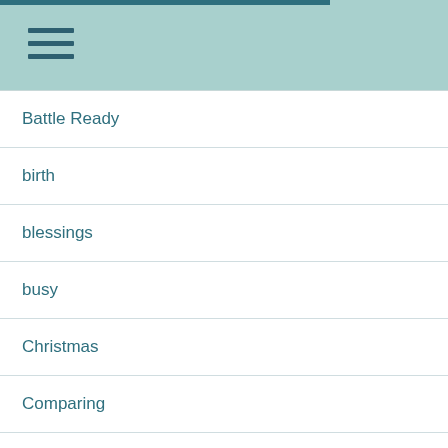Battle Ready
birth
blessings
busy
Christmas
Comparing
Contentment
control
devil